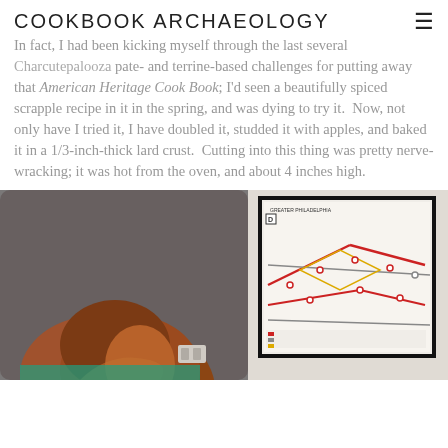Cookbook Archaeology
In fact, I had been kicking myself through the last several Charcutepalooza pate- and terrine-based challenges for putting away that American Heritage Cook Book; I'd seen a beautifully spiced scrapple recipe in it in the spring, and was dying to try it.  Now, not only have I tried it, I have doubled it, studded it with apples, and baked it in a 1/3-inch-thick lard crust.  Cutting into this thing was pretty nerve-wracking; it was hot from the oven, and about 4 inches high.
[Figure (photo): Person with reddish-brown hair seen from behind, with a framed transit/subway map on the wall in the background]